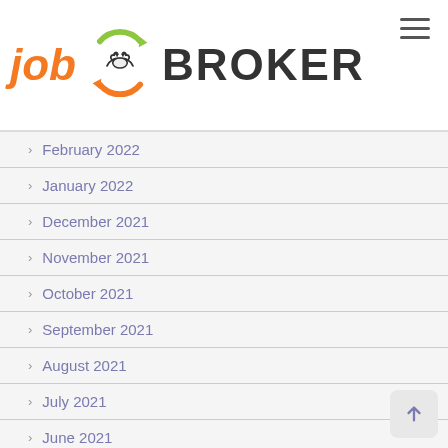July 2022
[Figure (logo): Job Broker logo with handshake icon inside circular arrows in green and orange]
February 2022
January 2022
December 2021
November 2021
October 2021
September 2021
August 2021
July 2021
June 2021
May 2021
April 2021
March 2021
February 2021